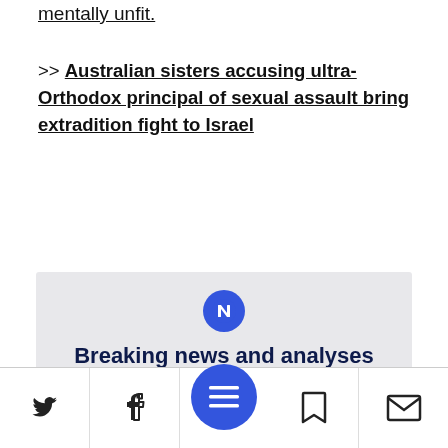mentally unfit.
>> Australian sisters accusing ultra-Orthodox principal of sexual assault bring extradition fight to Israel
[Figure (infographic): Newsletter signup promo box with blue icon, headline 'Breaking news and analyses delivered to your inbox', and a 'Click Here' button]
Social share / navigation bar with Twitter, Facebook, menu, bookmark, and email icons